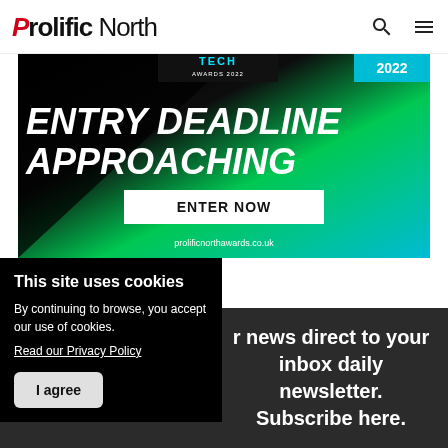Prolific North
[Figure (photo): Prolific North Awards 2022 advertisement banner with text 'ENTRY DEADLINE APPROACHING' and 'ENTER NOW' button, website prolificnorthawards.co.uk]
This site uses cookies
By continuing to browse, you accept our use of cookies.
Read our Privacy Policy
I agree
r news direct to your inbox daily newsletter. Subscribe here.